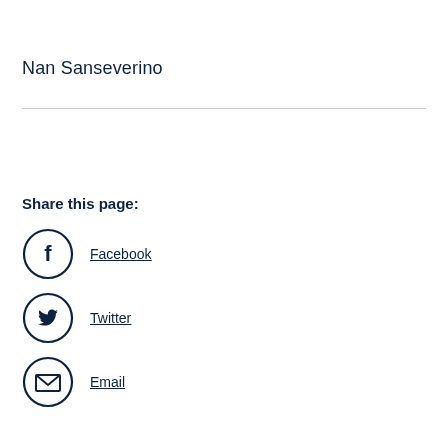Nan Sanseverino
Share this page:
Facebook
Twitter
Email